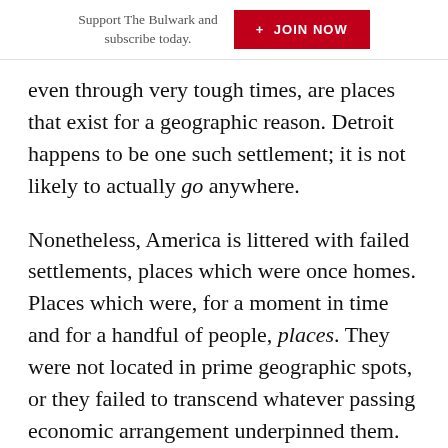Support The Bulwark and subscribe today. + JOIN NOW
even through very tough times, are places that exist for a geographic reason. Detroit happens to be one such settlement; it is not likely to actually go anywhere.
Nonetheless, America is littered with failed settlements, places which were once homes. Places which were, for a moment in time and for a handful of people, places. They were not located in prime geographic spots, or they failed to transcend whatever passing economic arrangement underpinned them.